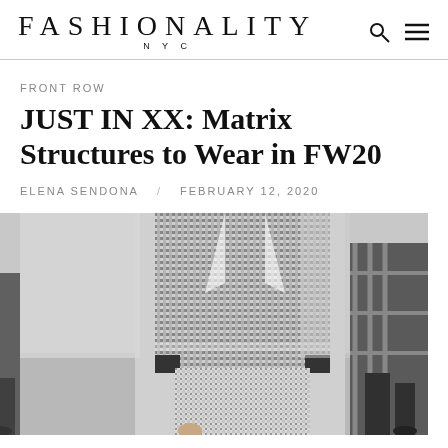FASHIONALITY NYC
FRONT ROW
JUST IN XX: Matrix Structures to Wear in FW20
ELENA SENDONA   FEBRUARY 12, 2020
[Figure (photo): Fashion runway photo showing a model wearing a black and white textured/patterned structured jacket and matching trousers. Another model is partially visible on the right wearing a plaid coat. The runway background is light grey.]